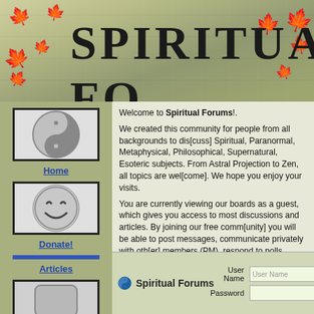SPIRITUAL FO[RUMS]
[Figure (screenshot): Yin-yang symbol icon in black bordered box]
Home
[Figure (illustration): Smiley face icon in black bordered box]
Donate!
[Figure (photo): Stack of books photo in blue bordered box]
Articles
[Figure (illustration): Chat bubble icon in black bordered box]
Welcome to Spiritual Forums!.
We created this community for people from all backgrounds to dis[cuss] Spiritual, Paranormal, Metaphysical, Philosophical, Supernatural, Esoteric subjects. From Astral Projection to Zen, all topics are wel[come]. We hope you enjoy your visits.
You are currently viewing our boards as a guest, which gives you access to most discussions and articles. By joining our free comm[unity] you will be able to post messages, communicate privately with oth[er] members (PM), respond to polls, upload your own photos, and ga[in] access to our Chat Rooms, Registration is fast, simple, and free, s[o] please, join our community today!!
If you have any problems with the registration process or your acc[ount] login, check our FAQs before contacting support. Please read our rules, since they are enforced by our volunteer staff. This will help avoid any infractions and issues.
Spiritual Forums   User Name [User Name]  Remember   Password [        ]  Log in